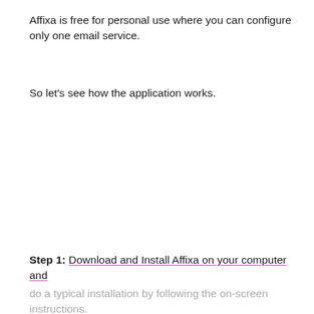Affixa is free for personal use where you can configure only one email service.
So let's see how the application works.
Step 1: Download and Install Affixa on your computer and do a typical installation by following the on-screen instructions.